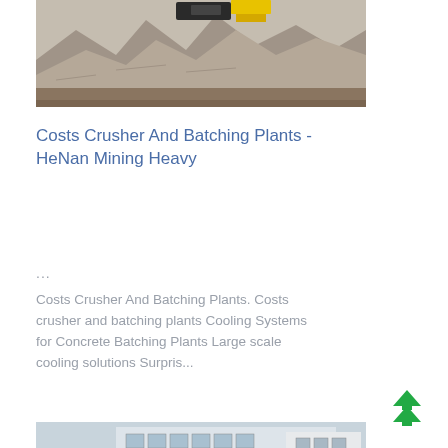[Figure (photo): Aerial view of crushed stone/gravel piles at a mining or quarry site with heavy machinery (excavator/loader) visible at the top in yellow and black]
Costs Crusher And Batching Plants - HeNan Mining Heavy
...
Costs Crusher And Batching Plants. Costs crusher and batching plants Cooling Systems for Concrete Batching Plants Large scale cooling solutions Surpris...
[Figure (photo): Industrial batching plant facility with orange machinery in the foreground and a building with Chinese characters '用户放心' (customer satisfaction) visible in the background]